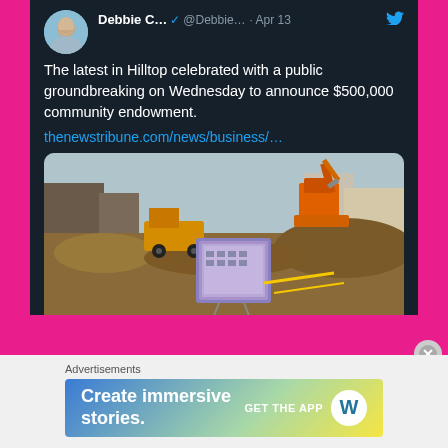[Figure (screenshot): A screenshot of a tweet by Debbie C. (@Debbie...) from Apr 13, with a Twitter verified badge. The tweet reads: 'The latest in Hilltop celebrated with a public groundbreaking on Wednesday to announce $500,000 community endowment. thenewstribune.com/news/business/…' with an embedded photo of a construction site showing dump trucks, an excavator, and a rendering board of a multi-story building.]
Advertisements
[Figure (screenshot): Advertisement banner with gradient background (blue to green to yellow). Text reads 'Create immersive stories.' with a 'GET THE APP' call to action and WordPress logo.]